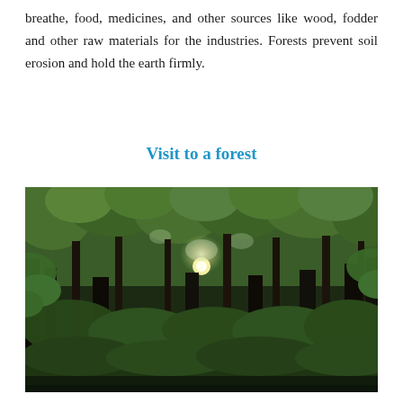breathe, food, medicines, and other sources like wood, fodder and other raw materials for the industries. Forests prevent soil erosion and hold the earth firmly.
Visit to a forest
[Figure (photo): A dense forest with tall dark tree trunks, lush green foliage canopy, and sunlight breaking through the center of the image illuminating the forest floor with green undergrowth.]